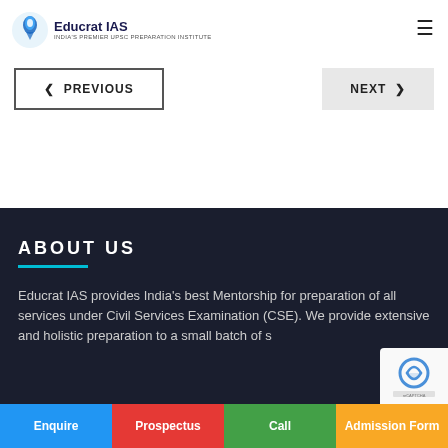Educrat IAS
< PREVIOUS
NEXT >
ABOUT US
Educrat IAS provides India's best Mentorship for preparation of all services under Civil Services Examination (CSE). We provide extensive and holistic preparation to a small batch of s…
Enquire | Prospectus | Call | Admission Form